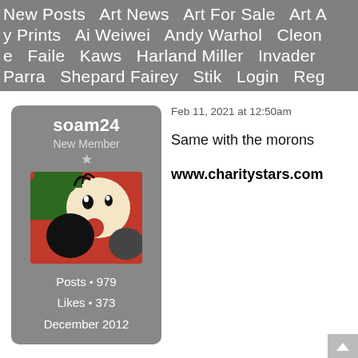New Posts   Art News   Art For Sale   Art A
y Prints   Ai Weiwei   Andy Warhol   Cleon
e   Faile   Kaws   Harland Miller   Invader
Parra   Shepard Fairey   Stik   Login   Reg
soam24
New Member
★
Posts • 979
Likes • 373
December 2012
Feb 11, 2021 at 12:50am
Same with the morons
www.charitystars.com